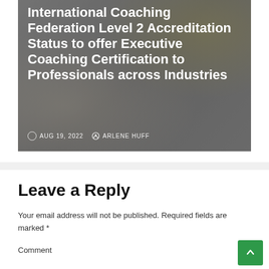[Figure (photo): Photo of hands on keyboard/desk with text overlay. Article card image showing title and metadata.]
International Coaching Federation Level 2 Accreditation Status to offer Executive Coaching Certification to Professionals across Industries
AUG 19, 2022   ARLENE HUFF
Leave a Reply
Your email address will not be published. Required fields are marked *
Comment